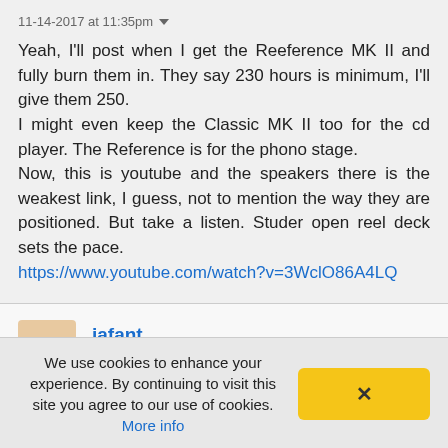11-14-2017 at 11:35pm ▼
Yeah, I'll post when I get the Reeference MK II and fully burn them in. They say 230 hours is minimum, I'll give them 250.
I might even keep the Classic MK II too for the cd player. The Reference is for the phono stage.
Now, this is youtube and the speakers there is the weakest link, I guess, not to mention the way they are positioned. But take a listen. Studer open reel deck sets the pace.
https://www.youtube.com/watch?v=3WclO86A4LQ
jafant
15,905 posts
We use cookies to enhance your experience. By continuing to visit this site you agree to our use of cookies. More info